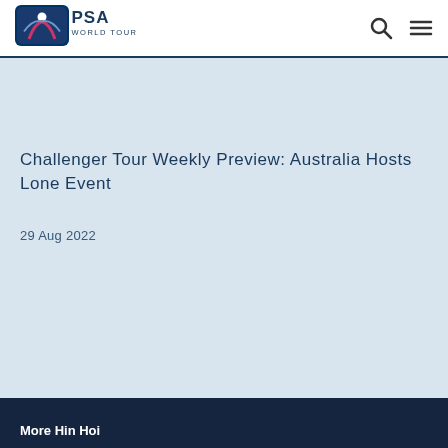[Figure (logo): PSA World Tour logo — blue/purple shield with figure graphic and white text]
Challenger Tour Weekly Preview: Australia Hosts Lone Event
29 Aug 2022
More Han Mai